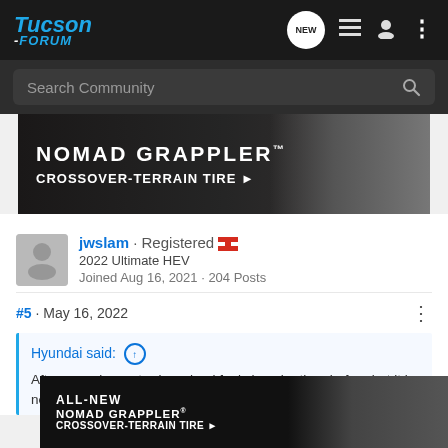Tucson-Forum navigation header with logo, NEW bubble, list icon, user icon, menu dots
Search Community
[Figure (photo): Nomad Grappler Crossover-Terrain Tire advertisement banner with tire in background]
jwslam · Registered 🇨🇦
2022 Ultimate HEV
Joined Aug 16, 2021 · 204 Posts
#5 · May 16, 2022
Hyundai said: ↑
After a week my sterring wheel feels heavier than before but it is not because tires. It is dri wheel
[Figure (photo): All-New Nomad Grappler Crossover-Terrain Tire Nitto advertisement overlay at bottom of page]